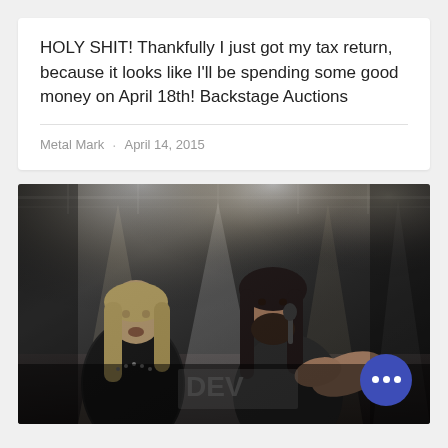HOLY SHIT! Thankfully I just got my tax return, because it looks like I'll be spending some good money on April 18th! Backstage Auctions
Metal Mark · April 14, 2015
[Figure (photo): Two heavy metal musicians performing on stage under bright stage lights. One on the left has long blonde hair and wears a studded black leather jacket. The other, center-right, has long dark hair and a beard, singing into a microphone with hand outstretched. A partial banner reading 'DEV' is visible in the background. A blue chat button with three dots is overlaid in the bottom-right corner.]